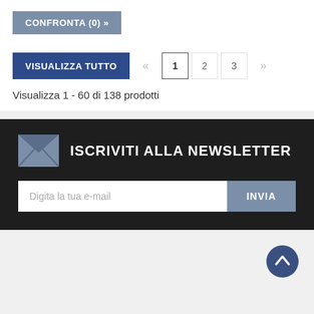CONFRONTA (0) »
VISUALIZZA TUTTO « 1 2 3 »
Visualizza 1 - 60 di 138 prodotti
ISCRIVITI ALLA NEWSLETTER
Digita la tua e-mail
INVIA
Essere per i nostri clienti un punto di riferimento, sicuri di trovare